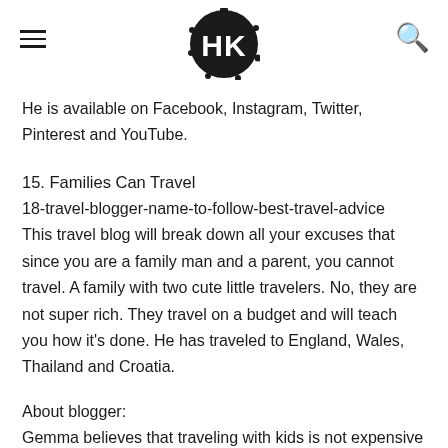HK (logo with hamburger menu and search icon)
He is available on Facebook, Instagram, Twitter, Pinterest and YouTube.
15. Families Can Travel
18-travel-blogger-name-to-follow-best-travel-advice
This travel blog will break down all your excuses that since you are a family man and a parent, you cannot travel. A family with two cute little travelers. No, they are not super rich. They travel on a budget and will teach you how it's done. He has traveled to England, Wales, Thailand and Croatia.
About blogger:
Gemma believes that traveling with kids is not expensive and difficult. The key lies in good research and thus research every minute detail before planning a trip. Gemma enjoys